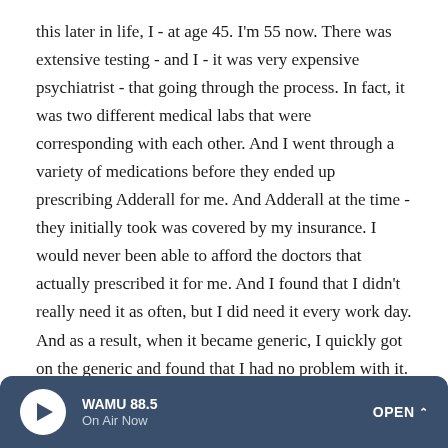this later in life, I - at age 45. I'm 55 now. There was extensive testing - and I - it was very expensive psychiatrist - that going through the process. In fact, it was two different medical labs that were corresponding with each other. And I went through a variety of medications before they ended up prescribing Adderall for me. And Adderall at the time - they initially took was covered by my insurance. I would never been able to afford the doctors that actually prescribed it for me. And I found that I didn't really need it as often, but I did need it every work day. And as a result, when it became generic, I quickly got on the generic and found that I had no problem with it.
I mean, I've never been able to not sleep with it, and it's
WAMU 88.5 On Air Now OPEN